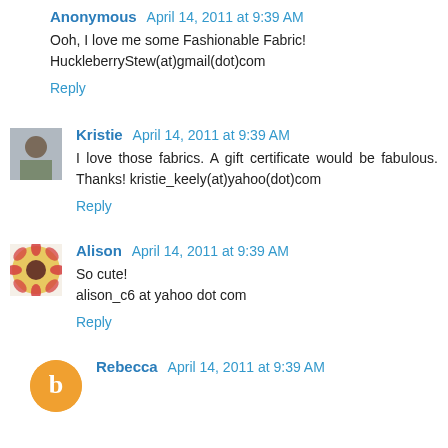Anonymous April 14, 2011 at 9:39 AM
Ooh, I love me some Fashionable Fabric! HuckleberryStew(at)gmail(dot)com
Reply
Kristie April 14, 2011 at 9:39 AM
I love those fabrics. A gift certificate would be fabulous. Thanks! kristie_keely(at)yahoo(dot)com
Reply
Alison April 14, 2011 at 9:39 AM
So cute!
alison_c6 at yahoo dot com
Reply
Rebecca April 14, 2011 at 9:39 AM